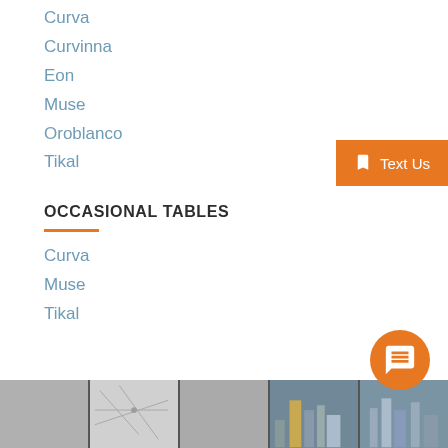Curva
Curvinna
Eon
Muse
Oroblanco
Tikal
OCCASIONAL TABLES
Curva
Muse
Tikal
[Figure (photo): Photo strip at bottom showing roofing textures and city skyline images]
[Figure (other): Orange Text Us button overlay in upper right]
[Figure (other): Orange chat bubble button in lower right]